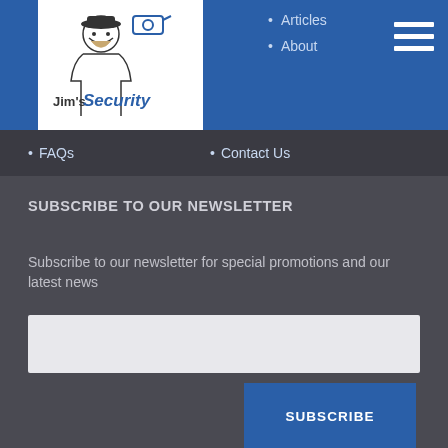[Figure (logo): Jim's Security logo with stylized figure and text]
Articles
About
FAQs
Contact Us
SUBSCRIBE TO OUR NEWSLETTER
Subscribe to our newsletter for special promotions and our latest news
CONTACT INFO